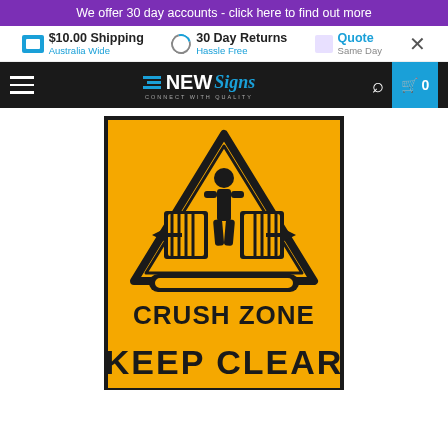We offer 30 day accounts - click here to find out more
$10.00 Shipping Australia Wide | 30 Day Returns Hassle Free | Quote Same Day
[Figure (screenshot): NEW Signs website navigation bar with hamburger menu, logo, search icon, and cart with 0 items]
[Figure (illustration): Yellow warning sign with crush zone symbol: triangle with person being squeezed by two plates, arrows pointing inward. Text reads CRUSH ZONE KEEP CLEAR]